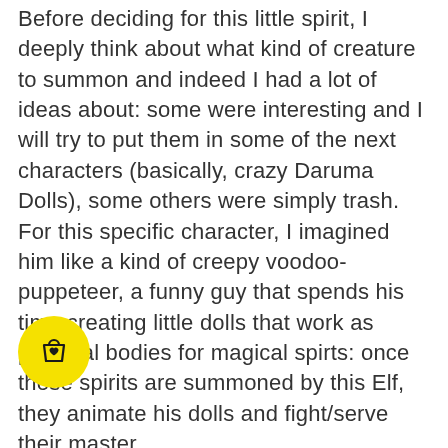Before deciding for this little spirit, I deeply think about what kind of creature to summon and indeed I had a lot of ideas about: some were interesting and I will try to put them in some of the next characters (basically, crazy Daruma Dolls), some others were simply trash. For this specific character, I imagined him like a kind of creepy voodoo-puppeteer, a funny guy that spends his time creating little dolls that work as physical bodies for magical spirts: once these spirits are summoned by this Elf, they animate his dolls and fight/serve their master. This will open not only a lot of creative opportunities because this is only the first spirited-doll of many, but I think that it will also open a series of sto...
[Figure (illustration): Yellow circle with a shopping bag icon containing a heart, positioned at lower left]